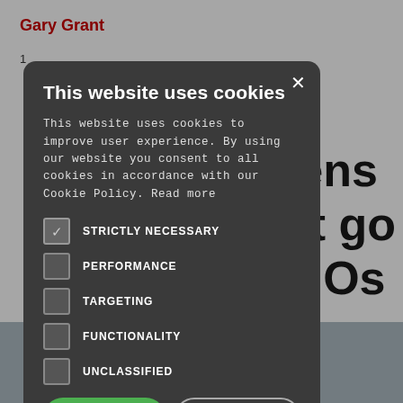Gary Grant
This website uses cookies
This website uses cookies to improve user experience. By using our website you consent to all cookies in accordance with our Cookie Policy. Read more
STRICTLY NECESSARY (checked)
PERFORMANCE
TARGETING
FUNCTIONALITY
UNCLASSIFIED
ACCEPT ALL
DECLINE ALL
SHOW DETAILS